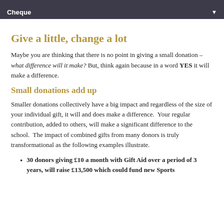Cheque
Give a little, change a lot
Maybe you are thinking that there is no point in giving a small donation – what difference will it make? But, think again because in a word YES it will make a difference.
Small donations add up
Smaller donations collectively have a big impact and regardless of the size of your individual gift, it will and does make a difference.  Your regular contribution, added to others, will make a significant difference to the school.  The impact of combined gifts from many donors is truly transformational as the following examples illustrate.
30 donors giving £10 a month with Gift Aid over a period of 3 years, will raise £13,500 which could fund new Sports